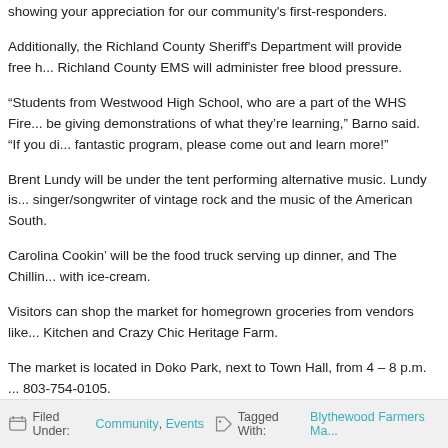showing your appreciation for our community's first-responders.
Additionally, the Richland County Sheriff's Department will provide free h... Richland County EMS will administer free blood pressure.
“Students from Westwood High School, who are a part of the WHS Fire... be giving demonstrations of what they’re learning,” Barno said. “If you di... fantastic program, please come out and learn more!”
Brent Lundy will be under the tent performing alternative music. Lundy is... singer/songwriter of vintage rock and the music of the American South.
Carolina Cookin’ will be the food truck serving up dinner, and The Chillin... with ice-cream.
Visitors can shop the market for homegrown groceries from vendors like... Kitchen and Crazy Chic Heritage Farm.
The market is located in Doko Park, next to Town Hall, from 4 – 8 p.m. ... 803-754-0105.
Filed Under: Community, Events   Tagged With: Blythewood Farmers Ma...